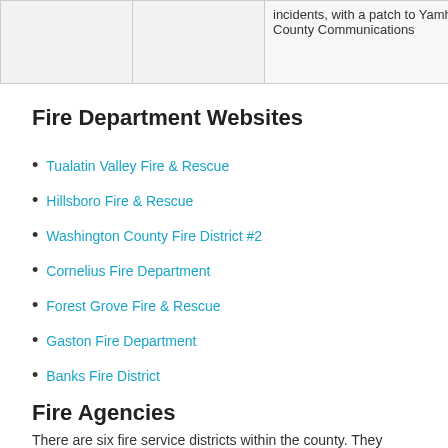|  |  |  |
| --- | --- | --- |
|  |  | incidents, with a patch to Yamhill County Communications |
Fire Department Websites
Tualatin Valley Fire & Rescue
Hillsboro Fire & Rescue
Washington County Fire District #2
Cornelius Fire Department
Forest Grove Fire & Rescue
Gaston Fire Department
Banks Fire District
Fire Agencies
There are six fire service districts within the county. They